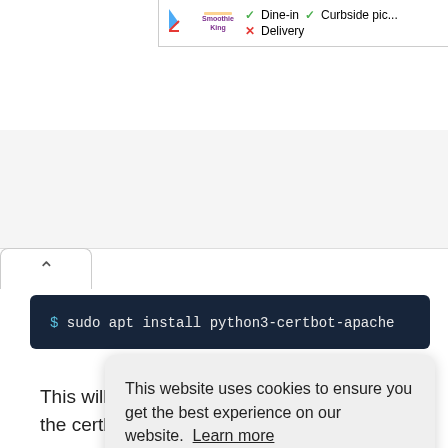[Figure (screenshot): Ad banner in top right corner showing Smoothie King logo with dine-in, curbside pickup checkmarks and delivery cross mark]
[Figure (screenshot): Up arrow / collapse tab in upper left area]
$ sudo apt install python3-certbot-apache
This will install all the required packages for the certbot.
Once [partially obscured] below [partially obscured] cer[tbot] dom[ain] multiple domains or subdomains using separa...
This website uses cookies to ensure you get the best experience on our website. Learn more Got it!